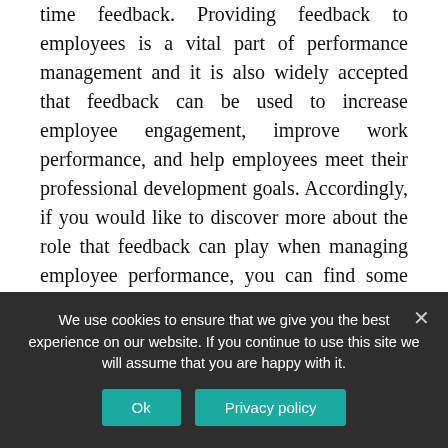time feedback. Providing feedback to employees is a vital part of performance management and it is also widely accepted that feedback can be used to increase employee engagement, improve work performance, and help employees meet their professional development goals. Accordingly, if you would like to discover more about the role that feedback can play when managing employee performance, you can find some helpful resources on the viGlobal website.
Digital Record-Keeping Tasks
We use cookies to ensure that we give you the best experience on our website. If you continue to use this site we will assume that you are happy with it.